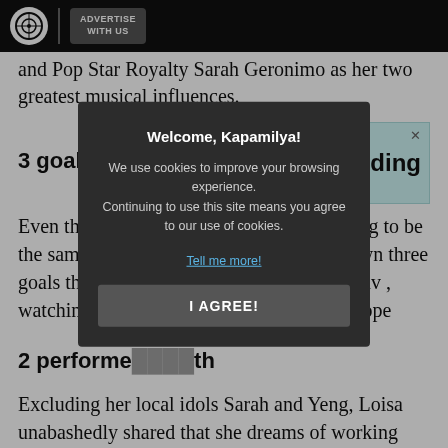ABS-CBN | ADVERTISE WITH US
and Pop Star Royalty Sarah Geronimo as her two greatest musical influences.
[Figure (other): Advertisement banner: 'Be a part of their back-to-school story' with 'Send load' button and 'ding' brand logo]
3 goal
Even though she’s convinced that she’s going to be the same now that she’s 18, Loisa listed down three goals that she’s hoping her goals include trav watching Justin Biebe ng her first movie, hope
2 performe th
Excluding her local idols Sarah and Yeng, Loisa unabashedly shared that she dreams of working with ex-
Welcome, Kapamilya!
We use cookies to improve your browsing experience.
Continuing to use this site means you agree to our use of cookies.
Tell me more!
I AGREE!